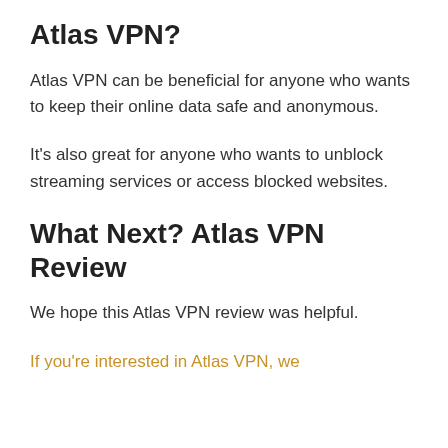Atlas VPN?
Atlas VPN can be beneficial for anyone who wants to keep their online data safe and anonymous.
It's also great for anyone who wants to unblock streaming services or access blocked websites.
What Next? Atlas VPN Review
We hope this Atlas VPN review was helpful.
If you're interested in Atlas VPN, we